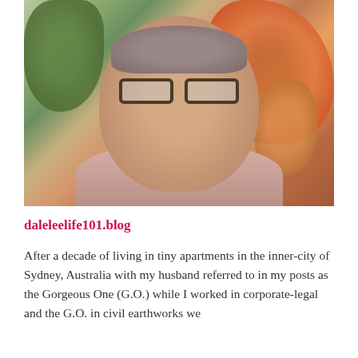[Figure (photo): Portrait photo of a middle-aged woman with short grey hair and glasses, smiling, wearing a patterned top, with tropical foliage in the background]
daleleelife101.blog
After a decade of living in tiny apartments in the inner-city of Sydney, Australia with my husband referred to in my posts as the Gorgeous One (G.O.) while I worked in corporate-legal and the G.O. in civil earthworks we